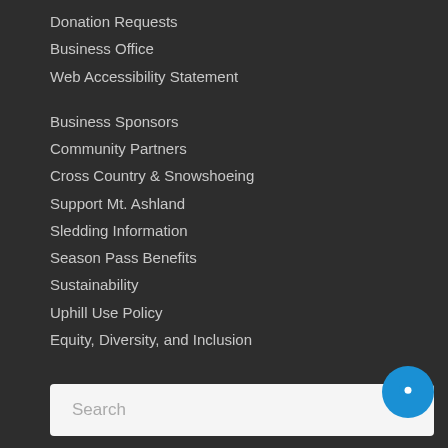Donation Requests
Business Office
Web Accessibility Statement
Business Sponsors
Community Partners
Cross Country & Snowshoeing
Support Mt. Ashland
Sledding Information
Season Pass Benefits
Sustainability
Uphill Use Policy
Equity, Diversity, and Inclusion